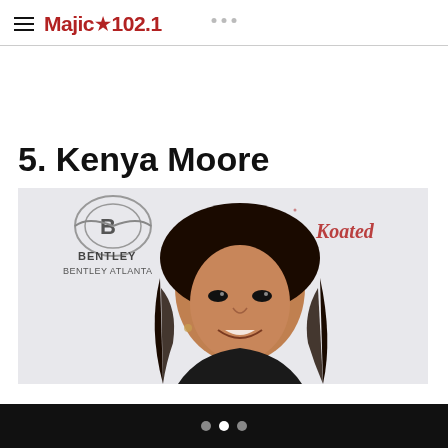Majic 102.1
5. Kenya Moore
[Figure (photo): Kenya Moore posing at a Bentley Atlanta / Kandi Koated event backdrop, smiling with long curly hair]
Navigation dots